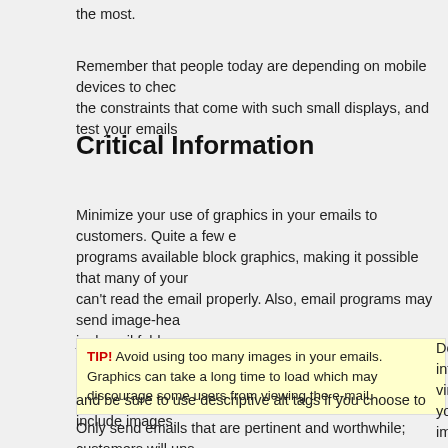the most.
Remember that people today are depending on mobile devices to check the constraints that come with such small displays, and test your emails
Critical Information
Minimize your use of graphics in your emails to customers. Quite a few programs available block graphics, making it possible that many of your can't read the email properly. Also, email programs may send image-hea junk mail folder.
TIP! Avoid using too many images in your emails. Graphics can take a long time to load which may discourage some users from viewing the e-mail.
Do not send out emails that use images to d information. Many email clients won't displa viruses and malware off their users' comput your messages look unreadable if you are to images. Always use clear text for your most c and be sure to use descriptive alt tags if you choose to include images.
Only send emails that are pertinent and worthwhile; customers will uns bombard them with useless messages.Do not send out repetitive emails intelligence through use of obvious sale petitions. Try to give useful inf